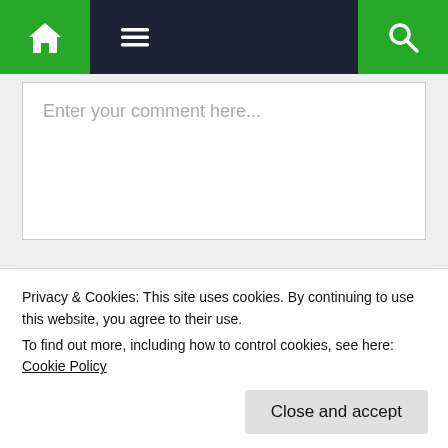Navigation bar with home, menu, and search icons
Enter your comment here...
Health
French tourist likely infected with monkeypox
Privacy & Cookies: This site uses cookies. By continuing to use this website, you agree to their use.
To find out more, including how to control cookies, see here: Cookie Policy
Close and accept